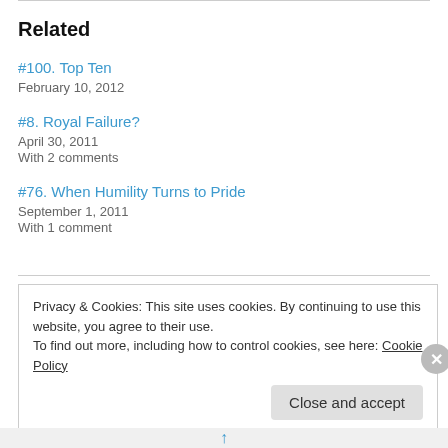Related
#100. Top Ten
February 10, 2012
#8. Royal Failure?
April 30, 2011
With 2 comments
#76. When Humility Turns to Pride
September 1, 2011
With 1 comment
Privacy & Cookies: This site uses cookies. By continuing to use this website, you agree to their use.
To find out more, including how to control cookies, see here: Cookie Policy